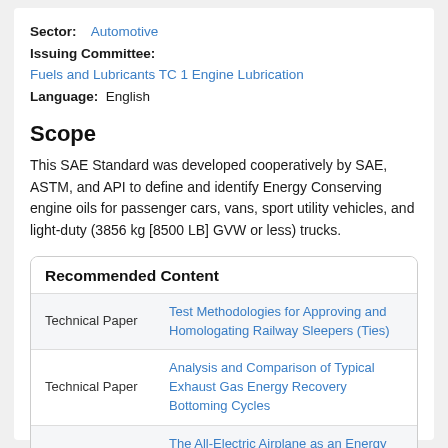Sector: Automotive
Issuing Committee: Fuels and Lubricants TC 1 Engine Lubrication
Language: English
Scope
This SAE Standard was developed cooperatively by SAE, ASTM, and API to define and identify Energy Conserving engine oils for passenger cars, vans, sport utility vehicles, and light-duty (3856 kg [8500 LB] GVW or less) trucks.
|  | Recommended Content |
| --- | --- |
| Technical Paper | Test Methodologies for Approving and Homologating Railway Sleepers (Ties) |
| Technical Paper | Analysis and Comparison of Typical Exhaust Gas Energy Recovery Bottoming Cycles |
| Technical Paper | The All-Electric Airplane as an Energy Efficient Transport |